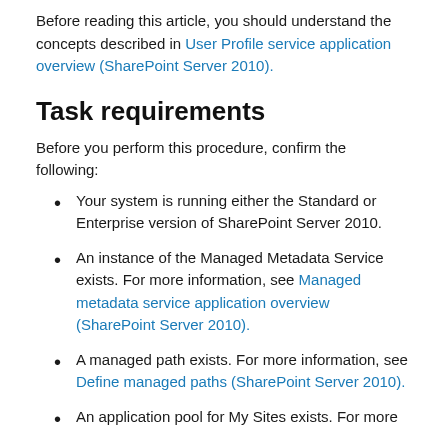Before reading this article, you should understand the concepts described in User Profile service application overview (SharePoint Server 2010).
Task requirements
Before you perform this procedure, confirm the following:
Your system is running either the Standard or Enterprise version of SharePoint Server 2010.
An instance of the Managed Metadata Service exists. For more information, see Managed metadata service application overview (SharePoint Server 2010).
A managed path exists. For more information, see Define managed paths (SharePoint Server 2010).
An application pool for My Sites exists. For more